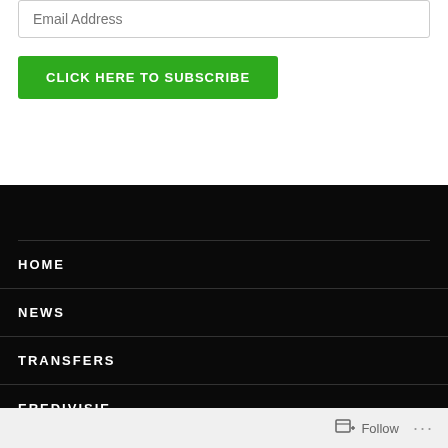Email Address
CLICK HERE TO SUBSCRIBE
HOME
NEWS
TRANSFERS
EREDIVISIE
EREDIVISIE REPORT
EREDIVISIE PREVIEW
TEAM OF THE WEEK
Follow